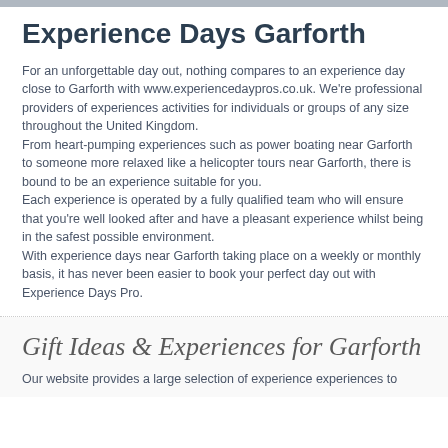Experience Days Garforth
For an unforgettable day out, nothing compares to an experience day close to Garforth with www.experiencedaypros.co.uk. We're professional providers of experiences activities for individuals or groups of any size throughout the United Kingdom.
From heart-pumping experiences such as power boating near Garforth to someone more relaxed like a helicopter tours near Garforth, there is bound to be an experience suitable for you.
Each experience is operated by a fully qualified team who will ensure that you're well looked after and have a pleasant experience whilst being in the safest possible environment.
With experience days near Garforth taking place on a weekly or monthly basis, it has never been easier to book your perfect day out with Experience Days Pro.
Gift Ideas & Experiences for Garforth
Our website provides a large selection of experience experiences to